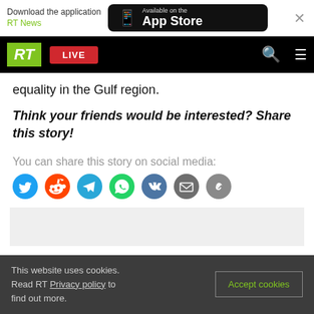[Figure (screenshot): App Store download banner with RT News branding, close button, and Available on the App Store badge]
RT LIVE
equality in the Gulf region.
Think your friends would be interested? Share this story!
You can share this story on social media:
[Figure (infographic): Social media sharing icons: Twitter, Reddit, Telegram, WhatsApp, VK, Email, Link]
This website uses cookies. Read RT Privacy policy to find out more.